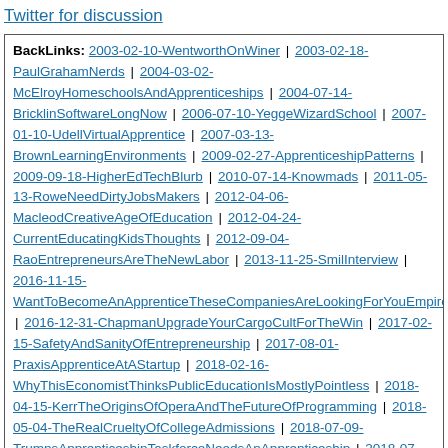Twitter for discussion
BackLinks: 2003-02-10-WentworthOnWiner | 2003-02-18-PaulGrahamNerds | 2004-03-02-McElroyHomeschoolsAndApprenticeships | 2004-07-14-BricklinSoftwareLongNow | 2006-07-10-YeggeWizardSchool | 2007-01-10-UdellVirtualApprentice | 2007-03-13-BrownLearningEnvironments | 2009-02-27-ApprenticeshipPatterns | 2009-09-18-HigherEdTechBlurb | 2010-07-14-Knowmads | 2011-05-13-RoweNeedDirtyJobsMakers | 2012-04-06-MacleodCreativeAgeOfEducation | 2012-04-24-CurrentEducatingKidsThoughts | 2012-09-04-RaoEntrepreneursAreTheNewLabor | 2013-11-25-SmilInterview | 2016-11-15-WantToBecomeAnApprenticeTheseCompaniesAreLookingForYouEmpire... | 2016-12-31-ChapmanUpgradeYourCargoCultForTheWin | 2017-02-15-SafetyAndSanityOfEntrepreneurship | 2017-08-01-PraxisApprenticeAtAStartup | 2018-02-16-WhyThisEconomistThinksPublicEducationIsMostlyPointless | 2018-04-15-KerrTheOriginsOfOperaAndTheFutureOfProgramming | 2018-05-04-TheRealCrueltyOfCollegeAdmissions | 2018-07-09-TrumpsApprenticeshipTaskforceNeedsAnApprenticeship | 2018-07-12-RebuildingGermanvsCenturiesoldVocalionalProgram | 2020-02-...